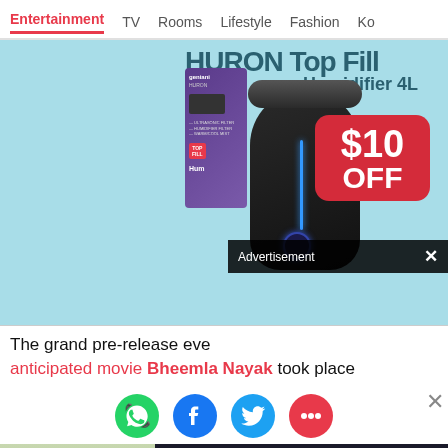Entertainment  TV  Rooms  Lifestyle  Fashion  Ko
[Figure (photo): Advertisement banner for Geniani Huron Top Fill Humidifier 4L with $10 OFF promotion on cyan background. Shows product image alongside a red discount badge. An 'Advertisement x' overlay bar appears at the bottom of the ad.]
The grand pre-release eve anticipated movie Bheemla Nayak took place
[Figure (infographic): Social sharing icons row: WhatsApp (green), Facebook (blue), Twitter (blue bird), and a pink chat/comment bubble icon.]
[Figure (screenshot): Bottom section showing a landscape image on the left (trees/nature in light tones) and a dark screen on the right with 'Hold and Move' text, human figure icons, and help/close buttons in corner.]